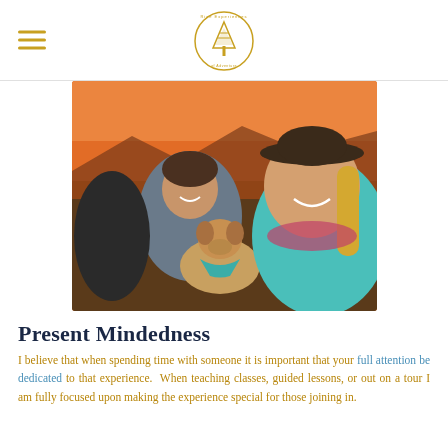Rise Experiences logo and navigation menu
[Figure (photo): Two smiling women and a dog with a teal bandana outdoors at sunset with orange sky and mountains in background. The woman in front is wearing a teal fleece and wide-brimmed hat; the woman behind wears a gray jacket and beanie.]
Present Mindedness
I believe that when spending time with someone it is important that your full attention be dedicated to that experience. When teaching classes, guided lessons, or out on a tour I am fully focused upon making the experience special for those joining in.